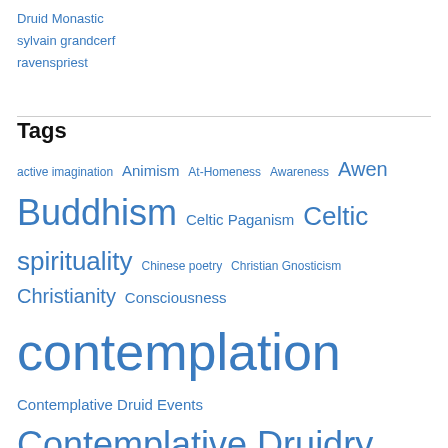Druid Monastic
sylvain grandcerf
ravenspriest
Tags
active imagination Animism At-Homeness Awareness Awen Buddhism Celtic Paganism Celtic spirituality Chinese poetry Christian Gnosticism Christianity Consciousness contemplation Contemplative Druid Events Contemplative Druidry contemplative Druidry book Contemplative inquiry contemplative Paganism Contemplative poetry contemplative contemplative spirituality